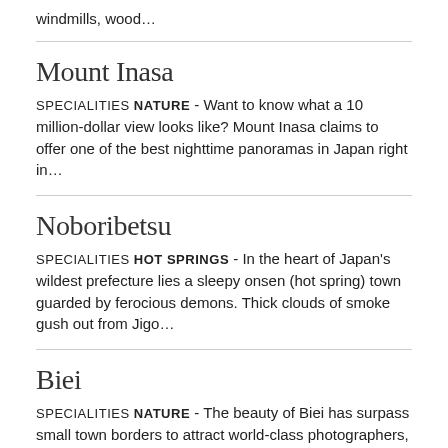windmills, wood…
Mount Inasa
SPECIALITIES NATURE - Want to know what a 10 million-dollar view looks like? Mount Inasa claims to offer one of the best nighttime panoramas in Japan right in…
Noboribetsu
SPECIALITIES HOT SPRINGS - In the heart of Japan's wildest prefecture lies a sleepy onsen (hot spring) town guarded by ferocious demons. Thick clouds of smoke gush out from Jigo…
Biei
SPECIALITIES NATURE - The beauty of Biei has surpass small town borders to attract world-class photographers, au